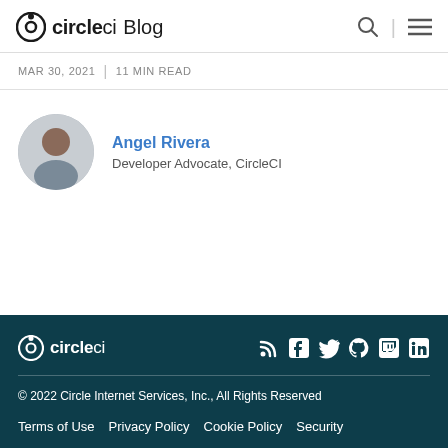circleci Blog
MAR 30, 2021 | 11 MIN READ
[Figure (photo): Author profile photo of Angel Rivera, a circular avatar showing a man smiling]
Angel Rivera
Developer Advocate, CircleCI
circleci | social icons (RSS, Facebook, Twitter, GitHub, Twitch, LinkedIn)
© 2022 Circle Internet Services, Inc., All Rights Reserved
Terms of Use | Privacy Policy | Cookie Policy | Security